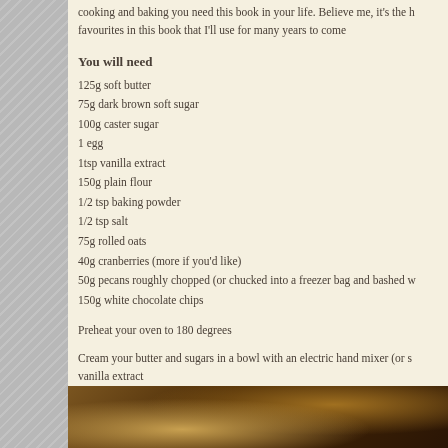cooking and baking you need this book in your life. Believe me, it's the favourites in this book that I'll use for many years to come
You will need
125g soft butter
75g dark brown soft sugar
100g caster sugar
1 egg
1tsp vanilla extract
150g plain flour
1/2 tsp baking powder
1/2 tsp salt
75g rolled oats
40g cranberries (more if you'd like)
50g pecans roughly chopped (or chucked into a freezer bag and bashed w
150g white chocolate chips
Preheat your oven to 180 degrees
Cream your butter and sugars in a bowl with an electric hand mixer (or s vanilla extract
[Figure (photo): Photo of baking ingredients or cookies in a bowl, dark background with warm tones]